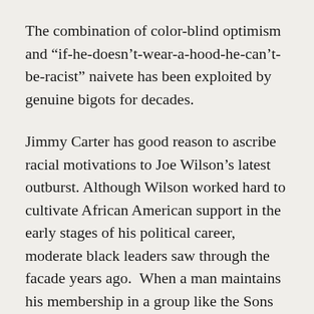The combination of color-blind optimism and “if-he-doesn’t-wear-a-hood-he-can’t-be-racist” naivete has been exploited by genuine bigots for decades.
Jimmy Carter has good reason to ascribe racial motivations to Joe Wilson’s latest outburst. Although Wilson worked hard to cultivate African American support in the early stages of his political career, moderate black leaders saw through the facade years ago.  When a man maintains his membership in a group like the Sons of Confederate Veterans a decade after the organization adopts an unambiguously racist agenda questions must be asked.  When a man